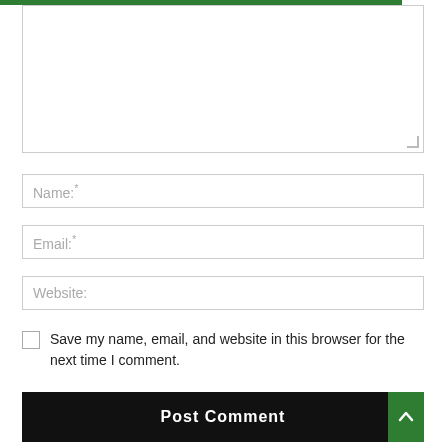[Figure (screenshot): A web comment form with a textarea (partially visible), Name, Email, Website input fields, a save checkbox, and a Post Comment button with a green scroll-to-top arrow button.]